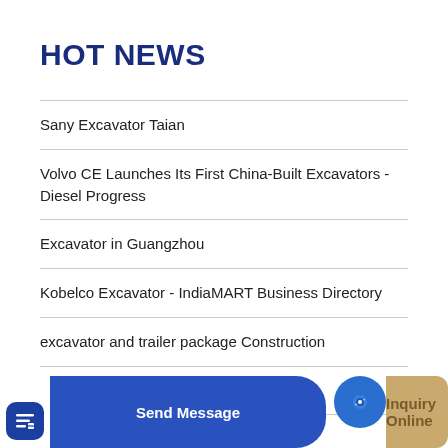HOT NEWS
Sany Excavator Taian
Volvo CE Launches Its First China-Built Excavators - Diesel Progress
Excavator in Guangzhou
Kobelco Excavator - IndiaMART Business Directory
excavator and trailer package Construction
Loader 3 tons classic model